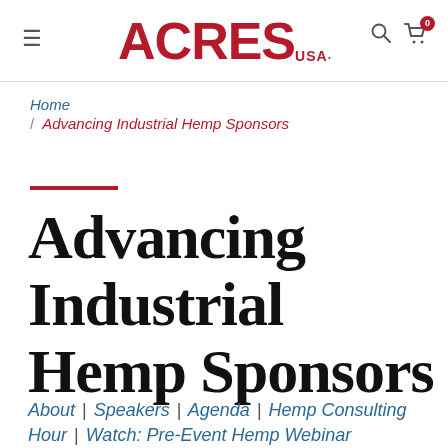ACRES USA
Home / Advancing Industrial Hemp Sponsors
Advancing Industrial Hemp Sponsors
About | Speakers | Agenda | Hemp Consulting Hour | Watch: Pre-Event Hemp Webinar